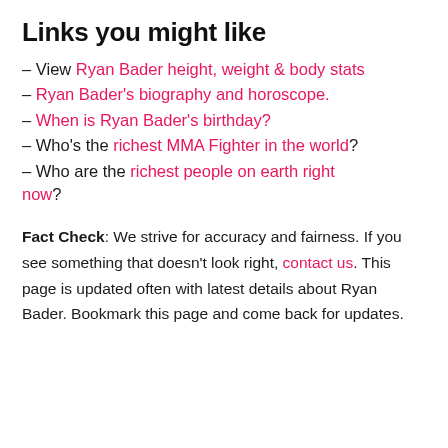Links you might like
– View Ryan Bader height, weight & body stats
– Ryan Bader's biography and horoscope.
– When is Ryan Bader's birthday?
– Who's the richest MMA Fighter in the world?
– Who are the richest people on earth right now?
Fact Check: We strive for accuracy and fairness. If you see something that doesn't look right, contact us. This page is updated often with latest details about Ryan Bader. Bookmark this page and come back for updates.